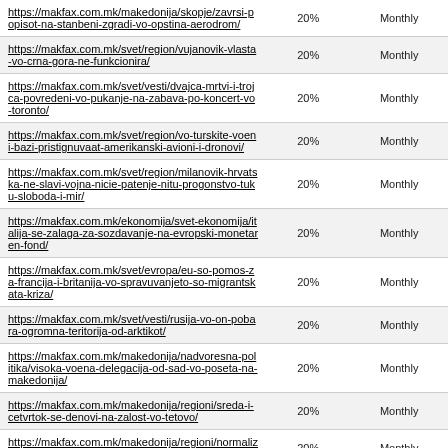| URL | Percentage | Frequency |
| --- | --- | --- |
| https://makfax.com.mk/makedonija/skopje/zavrsi-popisot-na-stanbeni-zgradi-vo-opstina-aerodrom/ | 20% | Monthly |
| https://makfax.com.mk/svet/region/vujanovik-vlasta-vo-crna-gora-ne-funkcionira/ | 20% | Monthly |
| https://makfax.com.mk/svet/vesti/dvajca-mrtvi-i-trojca-povredeni-vo-pukanje-na-zabava-po-koncert-vo-toronto/ | 20% | Monthly |
| https://makfax.com.mk/svet/region/vo-turskite-voeni-bazi-pristignuvaat-amerikanski-avioni-i-dronovi/ | 20% | Monthly |
| https://makfax.com.mk/svet/region/milanovik-hrvatska-ne-slavi-vojna-nicie-patenje-nitu-progonstvo-tuku-sloboda-i-mir/ | 20% | Monthly |
| https://makfax.com.mk/ekonomija/svet-ekonomija/italija-se-zalaga-za-sozdavanje-na-evropski-monetaren-fond/ | 20% | Monthly |
| https://makfax.com.mk/svet/evropa/eu-so-pomos-za-francija-i-britanija-vo-spravuvanjeto-so-migrantskata-kriza/ | 20% | Monthly |
| https://makfax.com.mk/svet/vesti/rusija-vo-on-pobara-ogromna-teritorija-od-arktikot/ | 20% | Monthly |
| https://makfax.com.mk/makedonija/nadvoresna-politika/visoka-voena-delegacija-od-sad-vo-poseta-na-makedonija/ | 20% | Monthly |
| https://makfax.com.mk/makedonija/regioni/sreda-i-cetvrtok-se-denovi-na-zalost-vo-tetovo/ | 20% | Monthly |
| https://makfax.com.mk/makedonija/regioni/normaliziran-soobrakajot-na-patot-tetovo-popova-sapka/ | 20% | Monthly |
| https://makfax.com.mk/svet/region/na-baranje-na-fbi-uapseni-trojca-kosovari/ | 20% | Monthly |